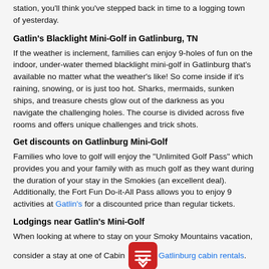station, you'll think you've stepped back in time to a logging town of yesterday.
Gatlin's Blacklight Mini-Golf in Gatlinburg, TN
If the weather is inclement, families can enjoy 9-holes of fun on the indoor, under-water themed blacklight mini-golf in Gatlinburg that's available no matter what the weather's like! So come inside if it's raining, snowing, or is just too hot. Sharks, mermaids, sunken ships, and treasure chests glow out of the darkness as you navigate the challenging holes. The course is divided across five rooms and offers unique challenges and trick shots.
Get discounts on Gatlinburg Mini-Golf
Families who love to golf will enjoy the "Unlimited Golf Pass" which provides you and your family with as much golf as they want during the duration of your stay in the Smokies (an excellent deal). Additionally, the Fort Fun Do-it-All Pass allows you to enjoy 9 activities at Gatlin's for a discounted price than regular tickets.
Lodgings near Gatlin's Mini-Golf
When looking at where to stay on your Smoky Mountains vacation, consider a stay at one of Cabin... Gatlinburg cabin rentals. With comfortable amenities that will ... u feel like you're right at home